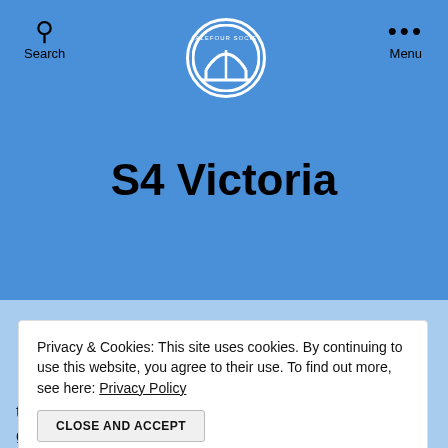Search | Scale Four Society Logo | Menu
S4 Victoria
Privacy & Cookies: This site uses cookies. By continuing to use this website, you agree to their use. To find out more, see here: Privacy Policy
CLOSE AND ACCEPT
them in touch with one another. Over the years the group